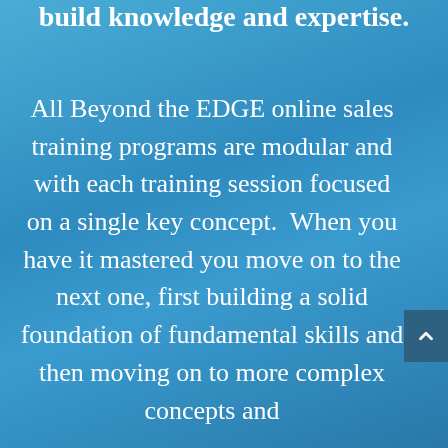build knowledge and expertise.
All Beyond the EDGE online sales training programs are modular and with each training session focused on a single key concept.  When you have it mastered you move on to the next one, first building a solid foundation of fundamental skills and then moving on to more complex concepts and